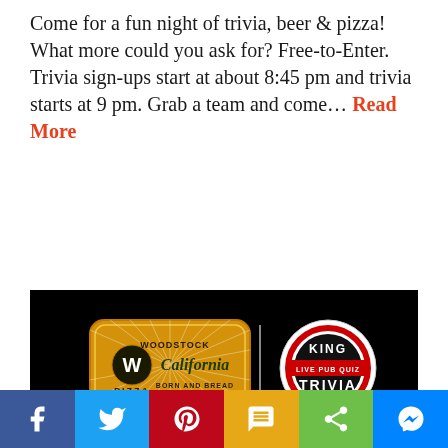Come for a fun night of trivia, beer & pizza! What more could you ask for? Free-to-Enter. Trivia sign-ups start at about 8:45 pm and trivia starts at 9 pm. Grab a team and come… Read More
[Figure (illustration): Woodstock Pizza and King Trivia logos on black background with 'TRIVIA NIGHT' text in gold below]
[Figure (infographic): Social media sharing bar with Facebook, Twitter, Pinterest, SMS, Share, and Messenger buttons]